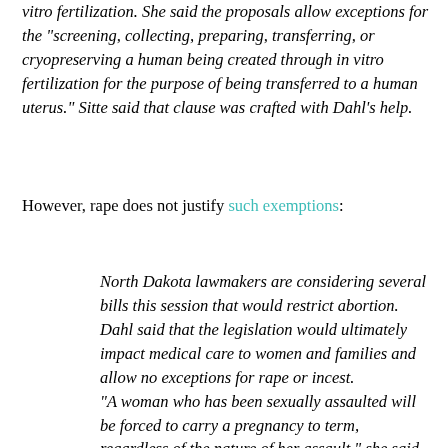vitro fertilization. She said the proposals allow exceptions for the "screening, collecting, preparing, transferring, or cryopreserving a human being created through in vitro fertilization for the purpose of being transferred to a human uterus." Sitte said that clause was crafted with Dahl's help.
However, rape does not justify such exemptions:
North Dakota lawmakers are considering several bills this session that would restrict abortion. Dahl said that the legislation would ultimately impact medical care to women and families and allow no exceptions for rape or incest. "A woman who has been sexually assaulted will be forced to carry a pregnancy to term, regardless of the nature of her assault," she said. Sitte said she doesn't think women should abort pregnancies resulting from rape.